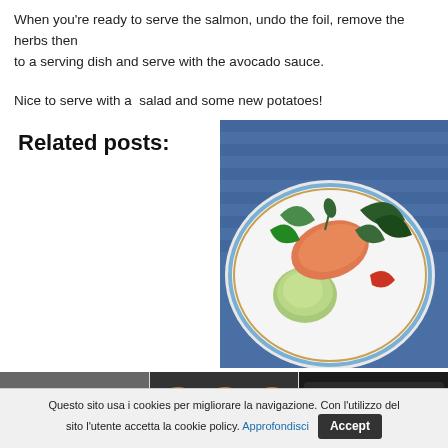When you're ready to serve the salmon, undo the foil, remove the herbs then to a serving dish and serve with the avocado sauce.
Nice to serve with a  salad and some new potatoes!
Related posts:
[Figure (photo): A plate with salmon, avocado sauce, and mixed salad greens with vegetables on a striped plate]
[Figure (photo): A bowl with pink/red soup with herb garnish]
[Figure (photo): Mini quiche or tart baked goods in a muffin tin]
[Figure (photo): Dark baked food item on a tray]
Questo sito usa i cookies per migliorare la navigazione. Con l'utilizzo del sito l'utente accetta la cookie policy. Approfondisci Accept